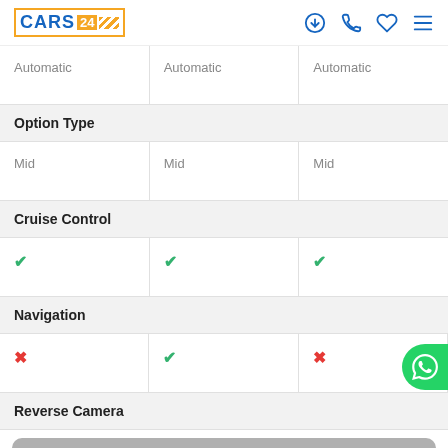CARS24 - navigation header with logo and icons
| Col1 | Col2 | Col3 |
| --- | --- | --- |
| Automatic | Automatic | Automatic |
| Option Type |  |  |
| Mid | Mid | Mid |
| Cruise Control |  |  |
| ✓ | ✓ | ✓ |
| Navigation |  |  |
| ✗ | ✓ | ✗ |
| Reverse Camera |  |  |
| NOT AVAILABLE |  |  |